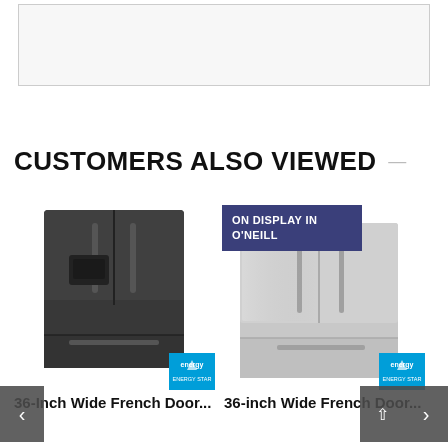[Figure (photo): White/light gray rectangular image box at top of page, partially visible, appears to be a product image placeholder with a light border]
CUSTOMERS ALSO VIEWED
[Figure (photo): 36-Inch Wide black stainless steel French Door refrigerator with Energy Star badge, displayed on white background]
36-Inch Wide French Door...
[Figure (photo): 36-inch Wide stainless steel French Door refrigerator with Energy Star badge, with 'ON DISPLAY IN O'NEILL' badge overlay]
36-inch Wide French Door...